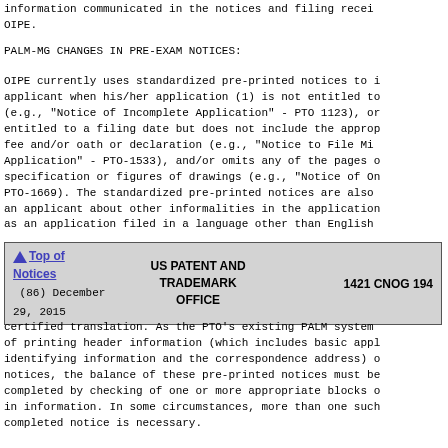information communicated in the notices and filing receipts by OIPE.
PALM-MG CHANGES IN PRE-EXAM NOTICES:
OIPE currently uses standardized pre-printed notices to inform an applicant when his/her application (1) is not entitled to a filing date (e.g., "Notice of Incomplete Application" - PTO 1123), or (2) is entitled to a filing date but does not include the appropriate fee and/or oath or declaration (e.g., "Notice to File Missing Parts of Application" - PTO-1533), and/or omits any of the pages of the specification or figures of drawings (e.g., "Notice of Omitted Items" - PTO-1669). The standardized pre-printed notices are also used to notify an applicant about other informalities in the application, such as an application filed in a language other than English,
| Navigation | Office Name | Reference |
| --- | --- | --- |
| ▲ Top of Notices (86) December 29, 2015 | US PATENT AND TRADEMARK OFFICE | 1421 CNOG 194 |
certified translation. As the PTO's existing PALM system is capable of printing header information (which includes basic application identifying information and the correspondence address) on the notices, the balance of these pre-printed notices must be completed by checking of one or more appropriate blocks or filling in information. In some circumstances, more than one such completed notice is necessary.